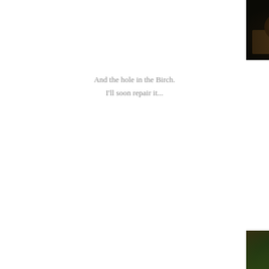[Figure (photo): Close-up photograph of a dark natural scene, possibly a bird nest or forest floor with twigs and debris, dark brown and black tones]
And the hole in the Birch.
I'll soon repair it...
[Figure (photo): Close-up photograph of a hole in a birch tree surrounded by green moss, with water or sap flowing out from the hole down the mossy surface]